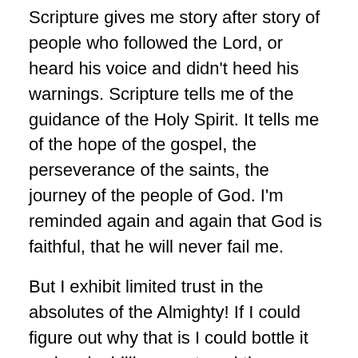Scripture gives me story after story of people who followed the Lord, or heard his voice and didn't heed his warnings. Scripture tells me of the guidance of the Holy Spirit. It tells me of the hope of the gospel, the perseverance of the saints, the journey of the people of God. I'm reminded again and again that God is faithful, that he will never fail me.
But I exhibit limited trust in the absolutes of the Almighty! If I could figure out why that is I could bottle it and make billions, or travel the country giving over-priced seminars to a multitude of others who have issues following the leadings of the Lord.
But I have a hard time figuring out myself. I've got a streak of idiocy within me mixed together with a hint of common sense.